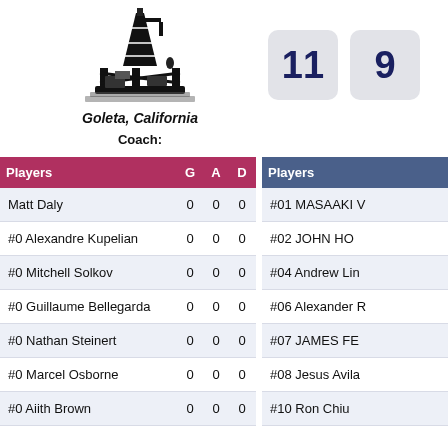[Figure (logo): Oil rig / offshore drilling platform logo in black silhouette]
Goleta, California
Coach:
11
9
| Players | G | A | D | T |
| --- | --- | --- | --- | --- |
| Matt Daly | 0 | 0 | 0 | 0 |
| #0 Alexandre Kupelian | 0 | 0 | 0 | 0 |
| #0 Mitchell Solkov | 0 | 0 | 0 | 0 |
| #0 Guillaume Bellegarda | 0 | 0 | 0 | 0 |
| #0 Nathan Steinert | 0 | 0 | 0 | 0 |
| #0 Marcel Osborne | 0 | 0 | 0 | 0 |
| #0 Aiith Brown | 0 | 0 | 0 | 0 |
| Players |
| --- |
| #01 MASAAKI V |
| #02 JOHN HO |
| #04 Andrew Lin |
| #06 Alexander R |
| #07 JAMES FE |
| #08 Jesus Avila |
| #10 Ron Chiu |